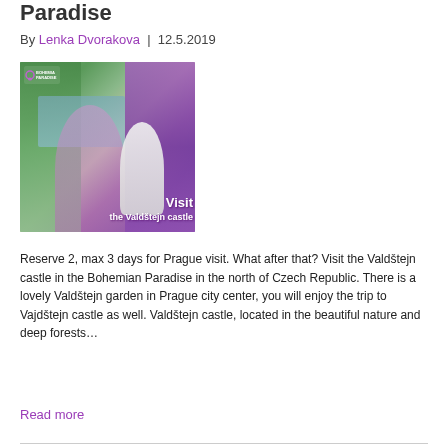Paradise
By Lenka Dvorakova  |  12.5.2019
[Figure (photo): Photo of a woman sitting near a fountain/water feature with a white peacock, in a garden setting. Overlay text reads 'Visit the Valdštejn castle'. Purple gradient overlay on right side. Logo in top left corner.]
Reserve 2, max 3 days for Prague visit. What after that? Visit the Valdštejn castle in the Bohemian Paradise in the north of Czech Republic. There is a lovely Valdštejn garden in Prague city center, you will enjoy the trip to Vajdštejn castle as well. Valdštejn castle, located in the beautiful nature and deep forests…
Read more